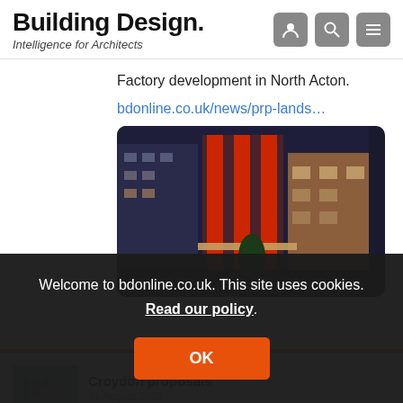Building Design. Intelligence for Architects
Factory development in North Acton.
bdonline.co.uk/news/prp-lands…
[Figure (photo): Architectural rendering of a modern mixed-use building with red structural columns and illuminated facade at dusk.]
M
Welcome to bdonline.co.uk. This site uses cookies. Read our policy.
OK
Croydon proposals
31 August 2022